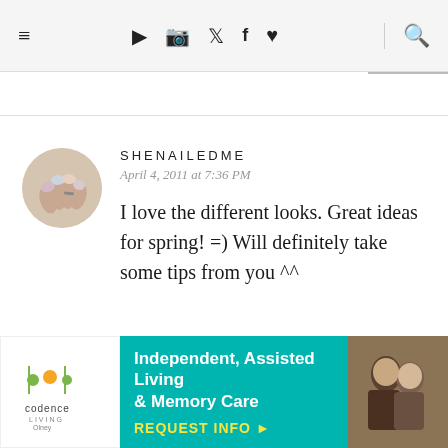≡  ▶ 📷 🐦 f ♥  🔍
SHENAILEDME
April 4, 2011 at 7:36 PM
I love the different looks. Great ideas for spring! =) Will definitely take some tips from you ^^
[Figure (other): Advertisement banner for Codence Living: Independent, Assisted Living & Memory Care. REQUEST INFO button. Logo on left, teal background with text in center, photo of elderly couple on right.]